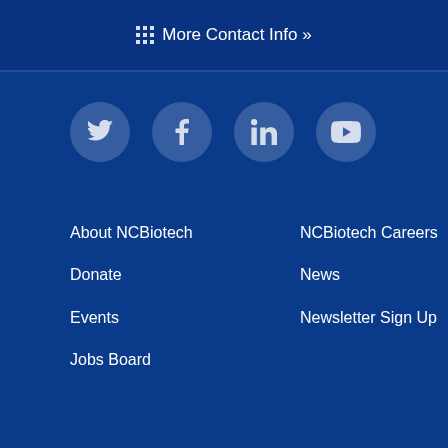More Contact Info »
[Figure (infographic): Four social media icons in circular buttons: Twitter, Facebook, LinkedIn, YouTube]
About NCBiotech
Donate
Events
Jobs Board
NCBiotech Careers
News
Newsletter Sign Up